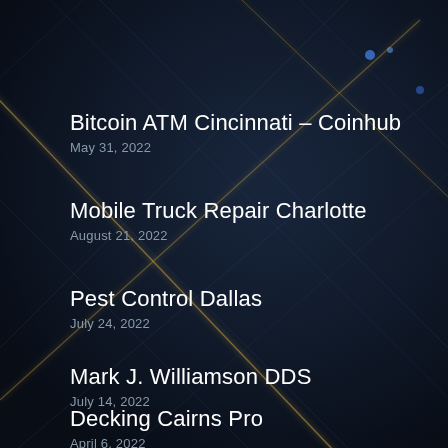Bitcoin ATM Cincinnati – Coinhub
May 31, 2022
Mobile Truck Repair Charlotte
August 21, 2022
Pest Control Dallas
July 24, 2022
Mark J. Williamson DDS
July 14, 2022
Decking Cairns Pro
April 6, 2022